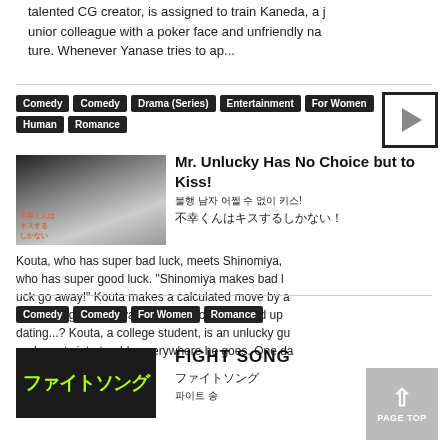talented CG creator, is assigned to train Kaneda, a junior colleague with a poker face and unfriendly nature. Whenever Yanase tries to ap...
Comedy, Comedy, Drama (Series), Entertainment, For Women, Human, Romance
[Figure (other): Play button icon - black bordered square with grey triangle pointing right]
[Figure (photo): Thumbnail image for Mr. Unlucky Has No Choice but to Kiss! showing two characters close together]
Mr. Unlucky Has No Choice but to Kiss!
불행 남자 어쩔 수 없이 키스!
不幸くんはキスするしかない！
Kouta, who has super bad luck, meets Shinomiya, who has super good luck. "Shinomiya makes bad luck go away!" Kouta makes a calculated move by approaching Shinomiya. But somehow, they end up dating...? Kouta, a college student, is an unlucky guy who gets into trouble everywhere he goes. One day...
Comedy, Comedy, For Women, Romance
FIGHT SONG
ファイトソング
파이트 송
[Figure (logo): Fight Song logo in yellow-green text on dark background: ファイトソング]
[Figure (other): PAGE TOP button - grey square with upward arrow and text PAGE TOP]